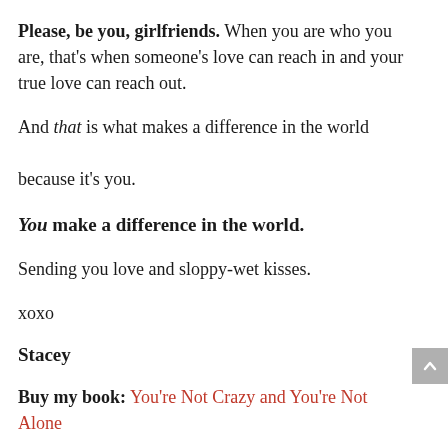Please, be you, girlfriends. When you are who you are, that's when someone's love can reach in and your true love can reach out.
And that is what makes a difference in the world because it's you.
You make a difference in the world.
Sending you love and sloppy-wet kisses.
xoxo
Stacey
Buy my book: You're Not Crazy and You're Not Alone